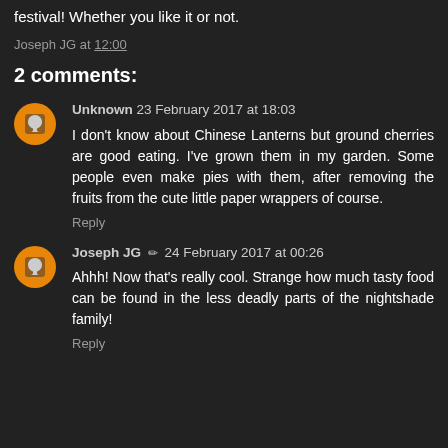festival! Whether you like it or not.
Joseph JG at 12:00
2 comments:
Unknown 23 February 2017 at 18:03
I don't know about Chinese Lanterns but ground cherries are good eating. I've grown them in my garden. Some people even make pies with them, after removing the fruits from the cute little paper wrappers of course.
Reply
Joseph JG ✏ 24 February 2017 at 00:26
Ahhh! Now that's really cool. Strange how much tasty food can be found in the less deadly parts of the nightshade family!
Reply